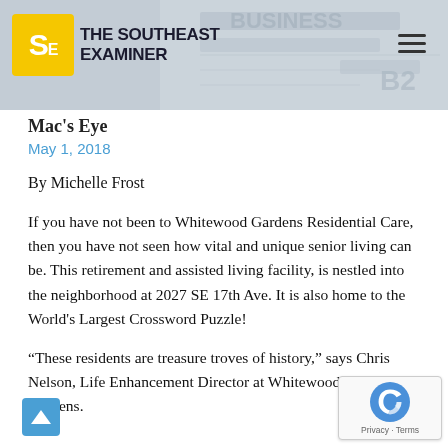THE SOUTHEAST EXAMINER
Mac's Eye
May 1, 2018
By Michelle Frost
If you have not been to Whitewood Gardens Residential Care, then you have not seen how vital and unique senior living can be. This retirement and assisted living facility, is nestled into the neighborhood at 2027 SE 17th Ave. It is also home to the World's Largest Crossword Puzzle!
“These residents are treasure troves of history,” says Chris Nelson, Life Enhancement Director at Whitewood Gardens.